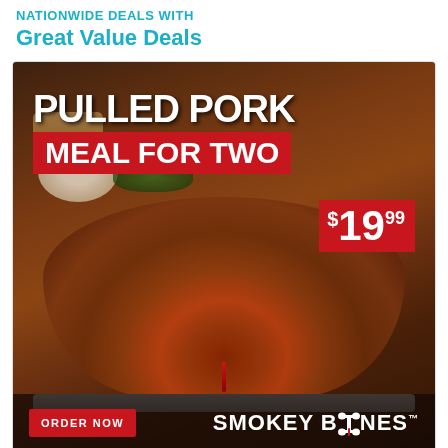Nationwide Deals with Great Value Deals
[Figure (photo): Smokey Bones restaurant advertisement featuring a Pulled Pork Meal for Two at $19.99. Shows a large pile of BBQ pulled pork on a metal tray with sides including coleslaw, garlic bread, and broccoli in the background. Text overlay reads 'PULLED PORK MEAL FOR TWO $19.99' with an ORDER NOW button and Smokey Bones logo at the bottom.]